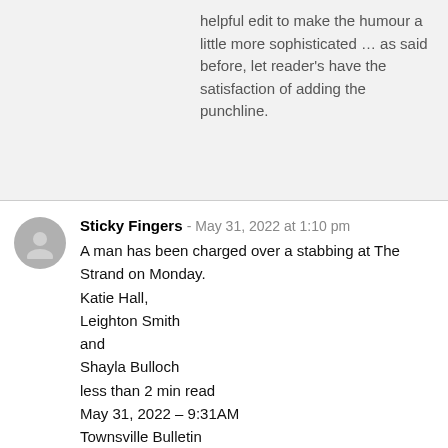helpful edit to make the humour a little more sophisticated … as said before, let reader's have the satisfaction of adding the punchline.
Sticky Fingers - May 31, 2022 at 1:10 pm
A man has been charged over a stabbing at The Strand on Monday.
Katie Hall,
Leighton Smith
and
Shayla Bulloch
less than 2 min read
May 31, 2022 – 9:31AM
Townsville Bulletin
Unbelievable Mr. Maq…10 sentences and it took three of